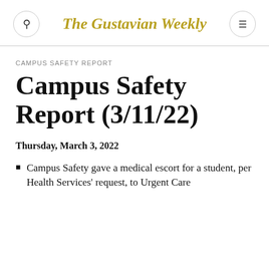The Gustavian Weekly
CAMPUS SAFETY REPORT
Campus Safety Report (3/11/22)
Thursday, March 3, 2022
Campus Safety gave a medical escort for a student, per Health Services' request, to Urgent Care